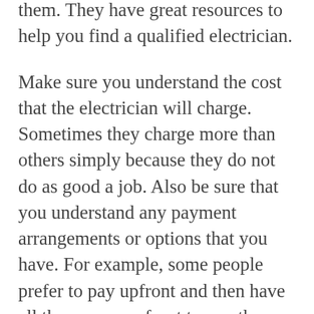them. They have great resources to help you find a qualified electrician.
Make sure you understand the cost that the electrician will charge. Sometimes they charge more than others simply because they do not do as good a job. Also be sure that you understand any payment arrangements or options that you have. For example, some people prefer to pay upfront and then have all the money upfront to pay the electrician.
Finally, make sure you check around. You may be able to get a better deal by looking around. You want to compare prices, qualifications, references, and experience. This will allow you to find someone who is reliable and trustworthy.
A great way to keep from paying an electrician a lot of money is to make sure that you get it in writing. You want to make sure that if there is a disagreement between you and